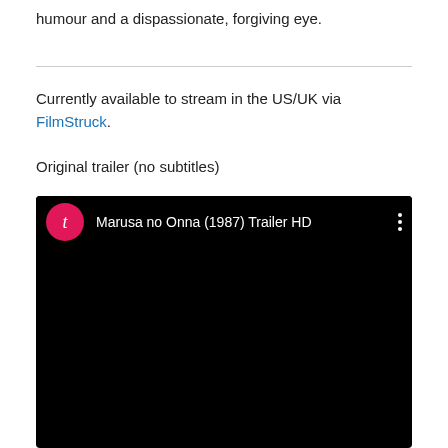humour and a dispassionate, forgiving eye.
Currently available to stream in the US/UK via FilmStruck.
Original trailer (no subtitles)
[Figure (screenshot): YouTube video embed showing 'Marusa no Onna (1987) Trailer HD' with a pink channel avatar with letter 't', video title, three-dot menu icon, and a movie scene with three people (a woman in blue dress and two men in suits) with a red YouTube play button overlay.]